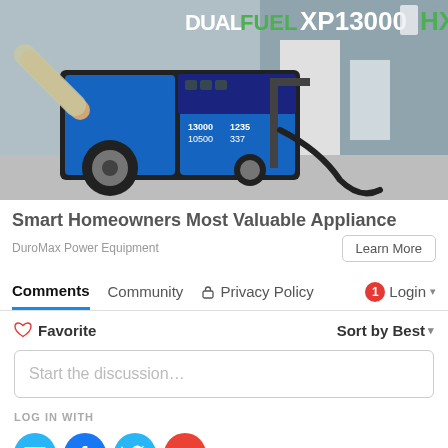[Figure (photo): Photo of a DuroMax Dual Fuel XP13000HX portable generator being used outdoors, with a person connecting a fuel hose. The generator is blue and black with large wheels.]
Smart Homeowners Most Valuable Appliance
DuroMax Power Equipment
Learn More
Comments  Community  Privacy Policy  1  Login
Favorite  Sort by Best
Start the discussion...
LOG IN WITH
[Figure (illustration): Social login icons: email (blue), Facebook (blue), Twitter (light blue), Google (red)]